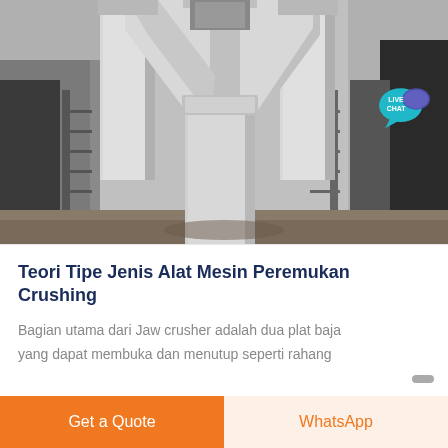[Figure (photo): Industrial machinery photo showing large white cylindrical pipes/ducts in a Y-junction configuration inside a factory or processing plant, with metal staircases and heavy equipment visible in the background. A 'LIVE CHAT' badge with speech bubble icon is overlaid in the top-right corner.]
Teori Tipe Jenis Alat Mesin Peremukan Crushing
Bagian utama dari Jaw crusher adalah dua plat baja yang dapat membuka dan menutup seperti rahang